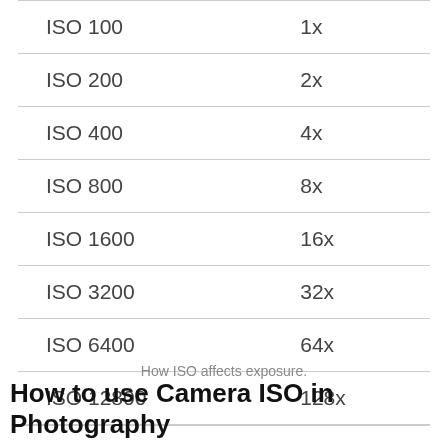| ISO | Multiplier |
| --- | --- |
| ISO 100 | 1x |
| ISO 200 | 2x |
| ISO 400 | 4x |
| ISO 800 | 8x |
| ISO 1600 | 16x |
| ISO 3200 | 32x |
| ISO 6400 | 64x |
| ISO 12800 | 128x |
How ISO affects exposure.
How to use Camera ISO in Photography